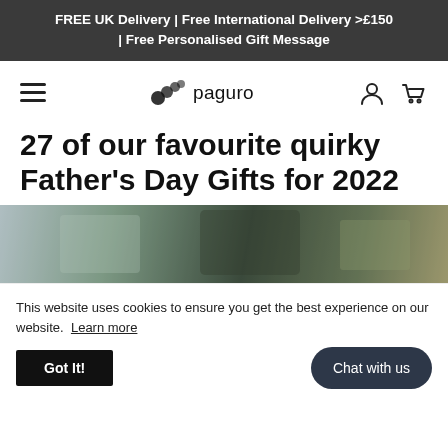FREE UK Delivery | Free International Delivery >£150 | Free Personalised Gift Message
[Figure (logo): Paguro logo with hamburger menu, paguro wordmark with shell icon, and account/cart icons in navbar]
27 of our favourite quirky Father's Day Gifts for 2022
[Figure (photo): Partial hero image showing gift items with dark green and beige tones, partially obscured by cookie banner]
This website uses cookies to ensure you get the best experience on our website. Learn more
Got It!
Chat with us